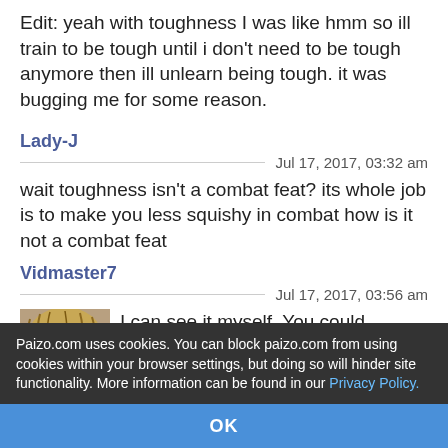Edit: yeah with toughness I was like hmm so ill train to be tough until i don't need to be tough anymore then ill unlearn being tough. it was bugging me for some reason.
Lady-J
Jul 17, 2017, 03:32 am
wait toughness isn't a combat feat? its whole job is to make you less squishy in combat how is it not a combat feat
Vidmaster7
Jul 17, 2017, 03:56 am
I can see it myself. You could probably argue the value of a lot of feats to be
Paizo.com uses cookies. You can block paizo.com from using cookies within your browser settings, but doing so will hinder site functionality. More information can be found in our Privacy Policy.
OK